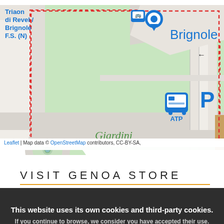[Figure (map): OpenStreetMap showing Brignole area in Genoa, Italy. Features green park area labeled 'Giardini', blue location marker labeled 'Brignole', bus stop icon labeled 'ATP', parking sign 'P', roundabout, streets, and a red dashed boundary area. Label 'Triaon di Revel / Brignole F.S. (N)' on the left.]
Leaflet | Map data © OpenStreetMap contributors, CC-BY-SA,
VISIT GENOA STORE
This website uses its own cookies and third-party cookies.
If you continue to browse, we consider you have accepted their use.
No problem
Visit our cookie policy